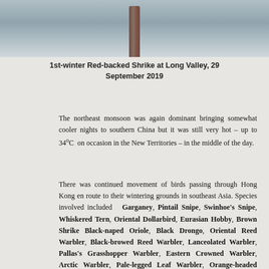[Figure (photo): Partial view of a bird perched on a wooden pole against a light grey sky background]
1st-winter Red-backed Shrike at Long Valley, 29 September 2019
The northeast monsoon was again dominant bringing somewhat cooler nights to southern China but it was still very hot – up to 34°C on occasion in the New Territories – in the middle of the day.
There was continued movement of birds passing through Hong Kong en route to their wintering grounds in southeast Asia. Species involved included Garganey, Pintail Snipe, Swinhoe's Snipe, Whiskered Tern, Oriental Dollarbird, Eurasian Hobby, Brown Shrike Black-naped Oriole, Black Drongo, Oriental Reed Warbler, Black-browed Reed Warbler, Lanceolated Warbler, Pallas's Grasshopper Warbler, Eastern Crowned Warbler, Arctic Warbler, Pale-legged Leaf Warbler, Orange-headed Thrush, Hainan Blue Flycatcher, Asian Brown Flycatcher, and Dark-sided Flycatcher.